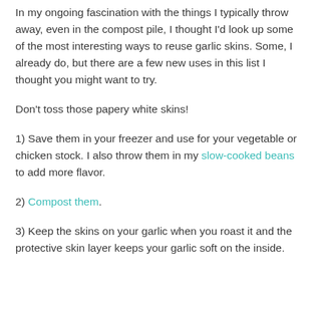In my ongoing fascination with the things I typically throw away, even in the compost pile, I thought I'd look up some of the most interesting ways to reuse garlic skins. Some, I already do, but there are a few new uses in this list I thought you might want to try.
Don't toss those papery white skins!
1) Save them in your freezer and use for your vegetable or chicken stock. I also throw them in my slow-cooked beans to add more flavor.
2) Compost them.
3) Keep the skins on your garlic when you roast it and the protective skin layer keeps your garlic soft on the inside.